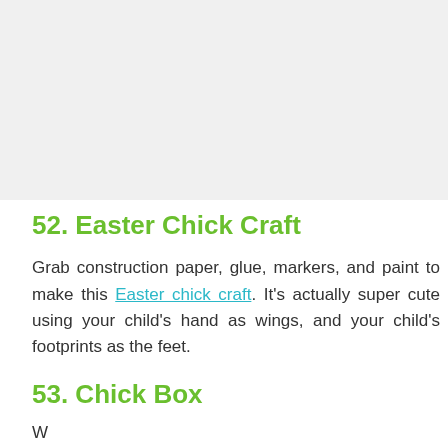[Figure (photo): Gray placeholder image area at top of page]
52. Easter Chick Craft
Grab construction paper, glue, markers, and paint to make this Easter chick craft. It's actually super cute using your child's hand as wings, and your child's footprints as the feet.
53. Chick Box
...